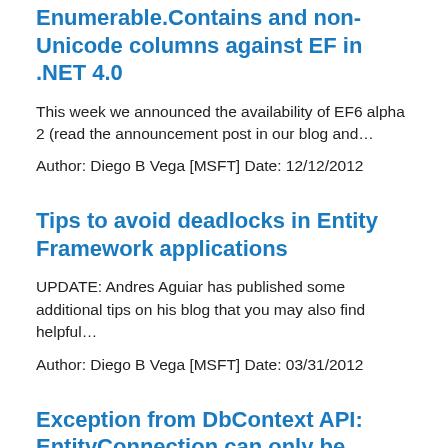Enumerable.Contains and non-Unicode columns against EF in .NET 4.0
This week we announced the availability of EF6 alpha 2 (read the announcement post in our blog and...
Author: Diego B Vega [MSFT] Date: 12/12/2012
Tips to avoid deadlocks in Entity Framework applications
UPDATE: Andres Aguiar has published some additional tips on his blog that you may also find helpful...
Author: Diego B Vega [MSFT] Date: 03/31/2012
Exception from DbContext API: EntityConnection can only be constructed with a closed DbConnection